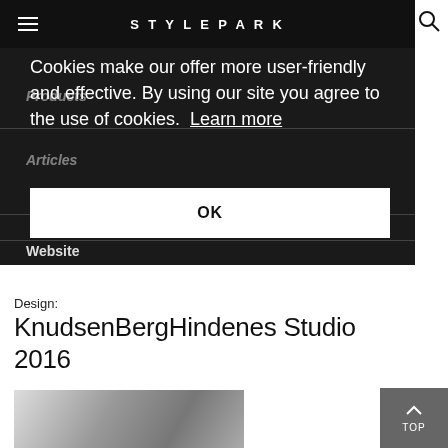STYLEPARK
Cookies make our offer more user-friendly and effective. By using our site you agree to the use of cookies. Learn more
OK
Articles
Website
Design:
KnudsenBergHindenes Studio 2016
[Figure (photo): Black and white photo of people, partially visible at bottom of page]
TOP